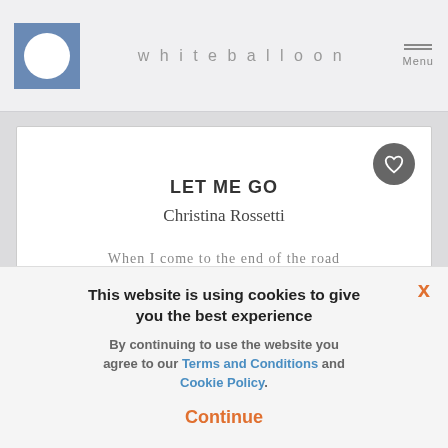whiteballoon
LET ME GO
Christina Rossetti
When I come to the end of the road
And the sun has set for...
This website is using cookies to give you the best experience
By continuing to use the website you agree to our Terms and Conditions and Cookie Policy.
Continue